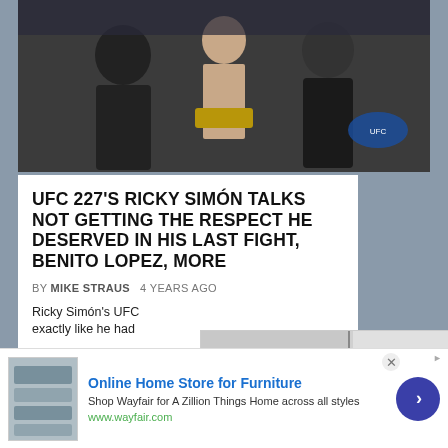[Figure (photo): MMA fighters posing with UFC championship belt, octagon in background]
UFC 227'S RICKY SIMÓN TALKS NOT GETTING THE RESPECT HE DESERVED IN HIS LAST FIGHT, BENITO LOPEZ, MORE
BY MIKE STRAUS   4 YEARS AGO
Ricky Simón's UFC ... exactly like he had
[Figure (screenshot): Video overlay showing MMA grappling/wrestling training footage]
Facebook founder Mark
[Figure (photo): Partial bottom-left image, blue/gray tones]
Online Home Store for Furniture
Shop Wayfair for A Zillion Things Home across all styles
www.wayfair.com